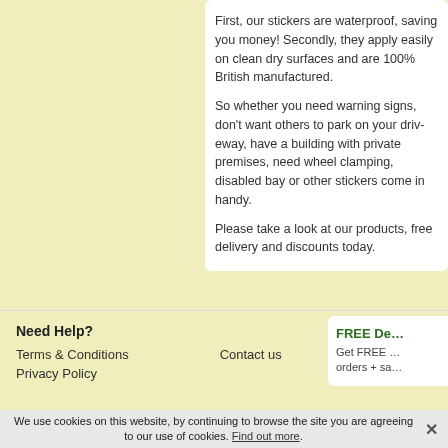First, our stickers are wate... saving you money! Secon... easily on clean dry surface... 100% British manufacture...
So whether you need war... others to park on your driv... building with private premi... wheel clamping, disabled ... stickers come in handy.
Please take a look at our p... delivery and discounts tod...
Need Help?
Terms & Conditions
Privacy Policy
Contact us
FREE De...
Get FREE ... orders + sa...
We use cookies on this website, by continuing to browse the site you are agreeing to our use of cookies. Find out more.